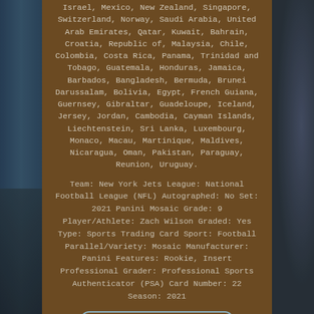Israel, Mexico, New Zealand, Singapore, Switzerland, Norway, Saudi Arabia, United Arab Emirates, Qatar, Kuwait, Bahrain, Croatia, Republic of, Malaysia, Chile, Colombia, Costa Rica, Panama, Trinidad and Tobago, Guatemala, Honduras, Jamaica, Barbados, Bangladesh, Bermuda, Brunei Darussalam, Bolivia, Egypt, French Guiana, Guernsey, Gibraltar, Guadeloupe, Iceland, Jersey, Jordan, Cambodia, Cayman Islands, Liechtenstein, Sri Lanka, Luxembourg, Monaco, Macau, Martinique, Maldives, Nicaragua, Oman, Pakistan, Paraguay, Reunion, Uruguay.
Team: New York Jets League: National Football League (NFL) Autographed: No Set: 2021 Panini Mosaic Grade: 9 Player/Athlete: Zach Wilson Graded: Yes Type: Sports Trading Card Sport: Football Parallel/Variety: Mosaic Manufacturer: Panini Features: Rookie, Insert Professional Grader: Professional Sports Authenticator (PSA) Card Number: 22 Season: 2021
More Information